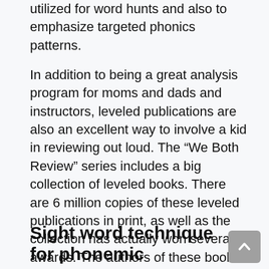utilized for word hunts and also to emphasize targeted phonics patterns.
In addition to being a great analysis program for moms and dads and instructors, leveled publications are also an excellent way to involve a kid in reviewing out loud. The “We Both Review” series includes a big collection of leveled books. There are 6 million copies of these leveled publications in print, as well as the collection has actually won several awards. The authors of these books include Dev Ross, Sindy McKay, and Jennifer Harrington.
Sight word technique for phonemic